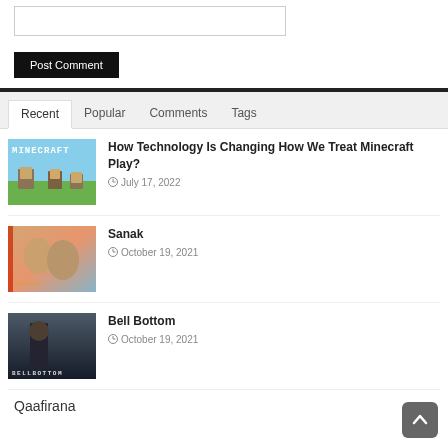[Figure (screenshot): Comment text input box (empty)]
Post Comment
Recent | Popular | Comments | Tags
How Technology Is Changing How We Treat Minecraft Play?
July 17, 2022
Sanak
October 19, 2021
Bell Bottom
October 19, 2021
Qaafirana